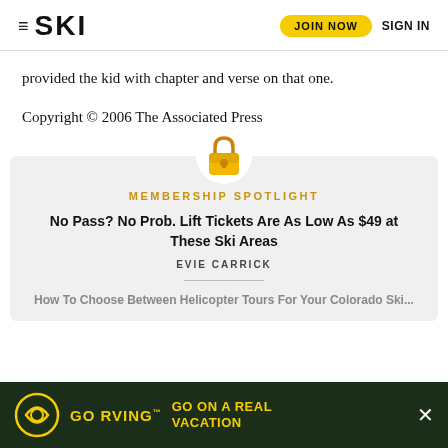SKI — JOIN NOW   SIGN IN
provided the kid with chapter and verse on that one.
Copyright © 2006 The Associated Press
[Figure (illustration): Lock icon (padlock) in gold/amber color above a membership spotlight card]
MEMBERSHIP SPOTLIGHT
No Pass? No Prob. Lift Tickets Are As Low As $49 at These Ski Areas
EVIE CARRICK
How To Choose Between Helicopter Tours For Your Colorado Ski...
[Figure (infographic): GO RVING advertisement banner with yellow text on dark green background: GO RVING™ GO ON A REAL VACATION]